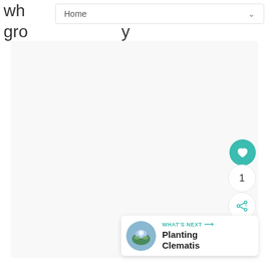wh...ce gro...y
Home
[Figure (screenshot): A large light gray empty content area representing a webpage article body]
1
WHAT'S NEXT → Planting Clematis